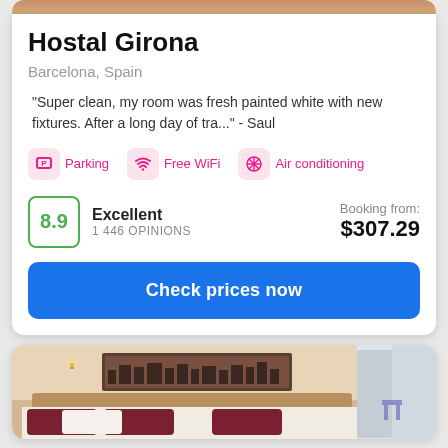[Figure (photo): Top portion of a hotel room photo - orange/warm toned interior]
Hostal Girona
Barcelona, Spain
"Super clean, my room was fresh painted white with new fixtures. After a long day of tra..." - Saul
Parking
Free WiFi
Air conditioning
8.9 Excellent 1 446 OPINIONS
Booking from: $307.29
Check prices now
[Figure (photo): Hotel bedroom with warm lighting, artwork on wall, bed with dark red pillows]